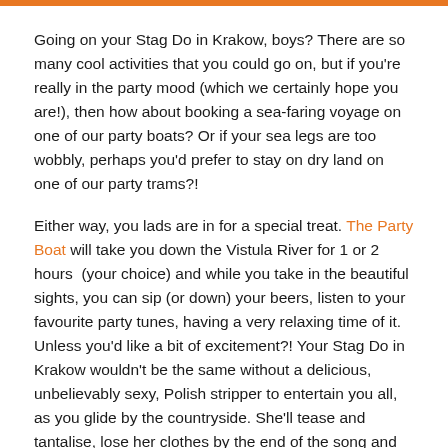Going on your Stag Do in Krakow, boys? There are so many cool activities that you could go on, but if you're really in the party mood (which we certainly hope you are!), then how about booking a sea-faring voyage on one of our party boats? Or if your sea legs are too wobbly, perhaps you'd prefer to stay on dry land on one of our party trams?!
Either way, you lads are in for a special treat. The Party Boat will take you down the Vistula River for 1 or 2 hours (your choice) and while you take in the beautiful sights, you can sip (or down) your beers, listen to your favourite party tunes, having a very relaxing time of it. Unless you'd like a bit of excitement?! Your Stag Do in Krakow wouldn't be the same without a delicious, unbelievably sexy, Polish stripper to entertain you all, as you glide by the countryside. She'll tease and tantalise, lose her clothes by the end of the song and